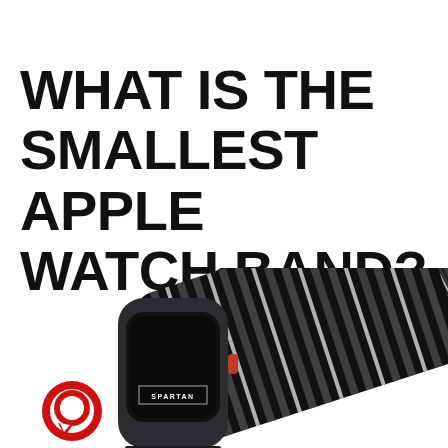WHAT IS THE SMALLEST APPLE WATCH BAND?
[Figure (photo): Photo of an Apple Watch with a black and white striped nylon sport loop band, showing the watch face with 'SPARTAN' text, a red digital crown, and a red circular logo (chat/comment icon) in the lower left corner of the image.]